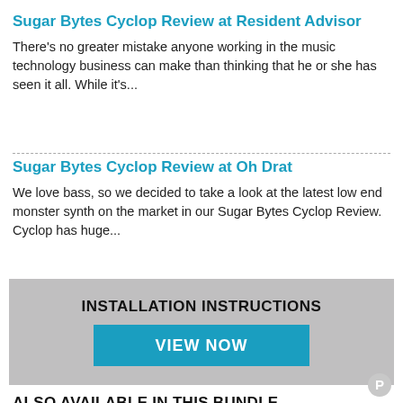Sugar Bytes Cyclop Review at Resident Advisor
There's no greater mistake anyone working in the music technology business can make than thinking that he or she has seen it all. While it's...
Sugar Bytes Cyclop Review at Oh Drat
We love bass, so we decided to take a look at the latest low end monster synth on the market in our Sugar Bytes Cyclop Review. Cyclop has huge...
INSTALLATION INSTRUCTIONS
VIEW NOW
ALSO AVAILABLE IN THIS BUNDLE